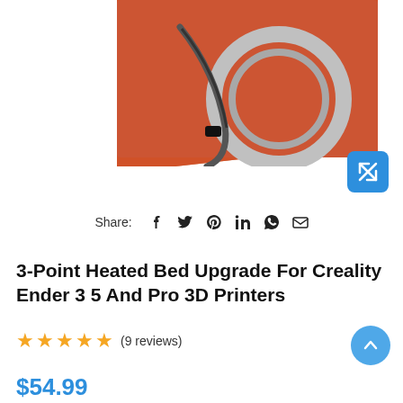[Figure (photo): Product photo showing a 3-point heated bed upgrade component with an orange silicone pad and metallic circular ring/spring, partially cropped at top]
Share: [social icons: facebook, twitter, pinterest, linkedin, whatsapp, email]
3-Point Heated Bed Upgrade For Creality Ender 3 5 And Pro 3D Printers
★★★★★ (9 reviews)
$54.99